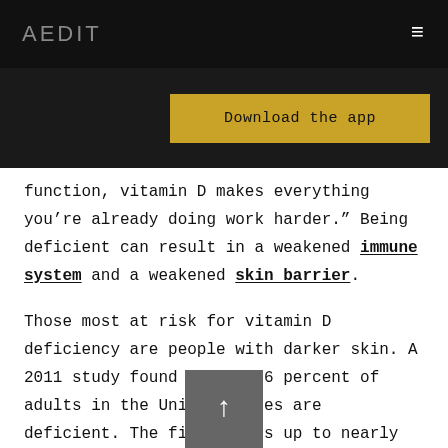AEDIT
[Figure (screenshot): Download the app button on dark background]
function, vitamin D makes everything you’re already doing work harder.” Being deficient can result in a weakened immune system and a weakened skin barrier.
Those most at risk for vitamin D deficiency are people with darker skin. A 2011 study found that 41.6 percent of adults in the United States are deficient. The figure goes up to nearly 70 percent in the Latinx population and 82 percent in the Black community. “Having said that, the benefits